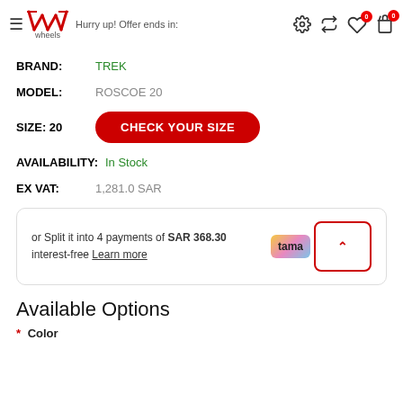Hurry up! Offer ends in: wheels (logo)
BRAND: TREK
MODEL: ROSCOE 20
SIZE: 20 CHECK YOUR SIZE
AVAILABILITY: In Stock
EX VAT: 1,281.0 SAR
or Split it into 4 payments of SAR 368.30 interest-free Learn more
Available Options
* Color